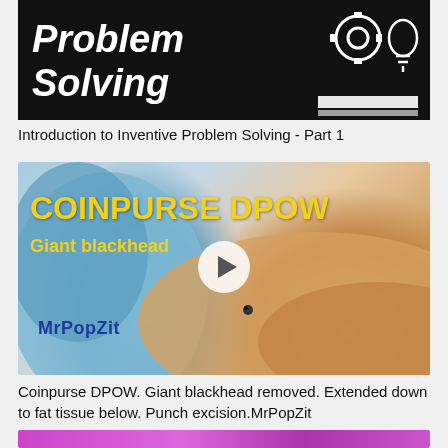[Figure (screenshot): Video thumbnail with dark background showing bold italic white text 'Problem Solving' and gear/lightbulb icons on the right]
Introduction to Inventive Problem Solving - Part 1
[Figure (screenshot): Video thumbnail showing gloved hand on skin with yellow text 'COINPURSE DPOW' and 'Giant blackhead', play button in center, MrPopZit branding]
Coinpurse DPOW. Giant blackhead removed. Extended down to fat tissue below. Punch excision.MrPopZit
[Figure (screenshot): Partial thumbnail visible at bottom showing pink/purple background]